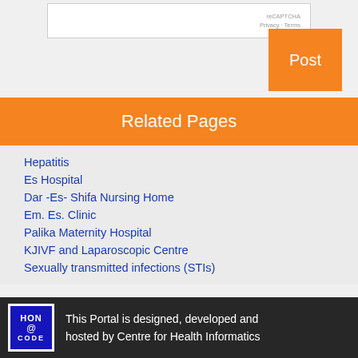[Figure (screenshot): reCAPTCHA widget with Privacy and Terms links]
Post
Related Pages
Hepatitis
Es Hospital
Dar -Es- Shifa Nursing Home
Em. Es. Clinic
Palika Maternity Hospital
KJIVF and Laparoscopic Centre
Sexually transmitted infections (STIs)
This Portal is designed, developed and hosted by Centre for Health Informatics